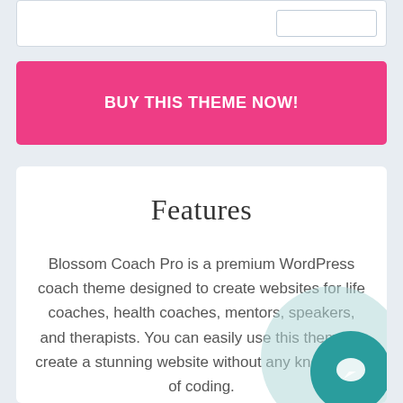[Figure (screenshot): Top navigation bar with white background and an input/search box on the right side]
BUY THIS THEME NOW!
Features
Blossom Coach Pro is a premium WordPress coach theme designed to create websites for life coaches, health coaches, mentors, speakers, and therapists. You can easily use this theme to create a stunning website without any knowledge of coding.